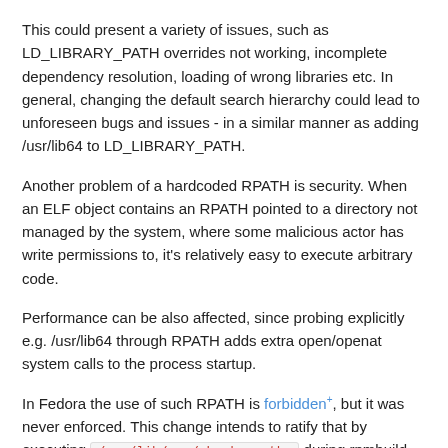This could present a variety of issues, such as LD_LIBRARY_PATH overrides not working, incomplete dependency resolution, loading of wrong libraries etc. In general, changing the default search hierarchy could lead to unforeseen bugs and issues - in a similar manner as adding /usr/lib64 to LD_LIBRARY_PATH.
Another problem of a hardcoded RPATH is security. When an ELF object contains an RPATH pointed to a directory not managed by the system, where some malicious actor has write permissions to, it's relatively easy to execute arbitrary code.
Performance can be also affected, since probing explicitly e.g. /usr/lib64 through RPATH adds extra open/openat system calls to the process startup.
In Fedora the use of such RPATH is forbidden, but it was never enforced. This change intends to ratify that by executing /usr/lib/rpm/check-rpaths during rpmbuild, after %install, and fail the build if an RPATH entry was detected. This change will not affect RPATH's pointing to private libraries.